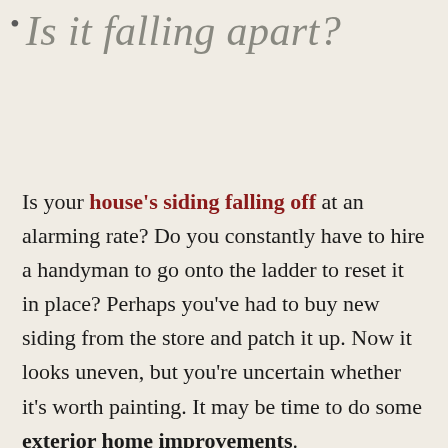Is it falling apart?
Is your house's siding falling off at an alarming rate? Do you constantly have to hire a handyman to go onto the ladder to reset it in place? Perhaps you've had to buy new siding from the store and patch it up. Now it looks uneven, but you're uncertain whether it's worth painting. It may be time to do some exterior home improvements.